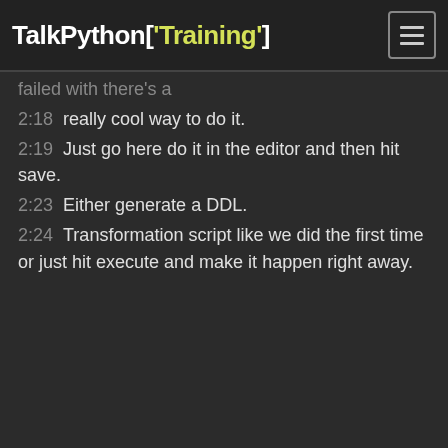TalkPython['Training']
...failed with there's a...
2:18   really cool way to do it.
2:19   Just go here do it in the editor and then hit save.
2:23   Either generate a DDL.
2:24   Transformation script like we did the first time or just hit execute and make it happen right away.